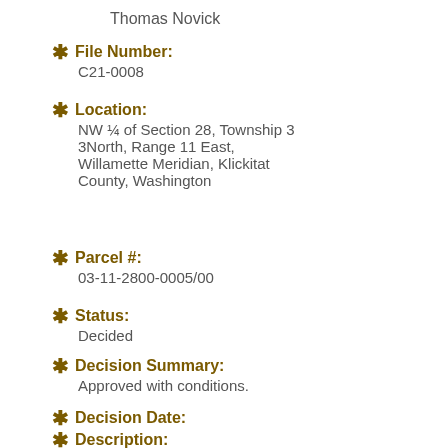Thomas Novick
File Number: C21-0008
Location: NW ¼ of Section 28, Township 3 3North, Range 11 East, Willamette Meridian, Klickitat County, Washington
Parcel #: 03-11-2800-0005/00
Status: Decided
Decision Summary: Approved with conditions.
Decision Date:
Description: